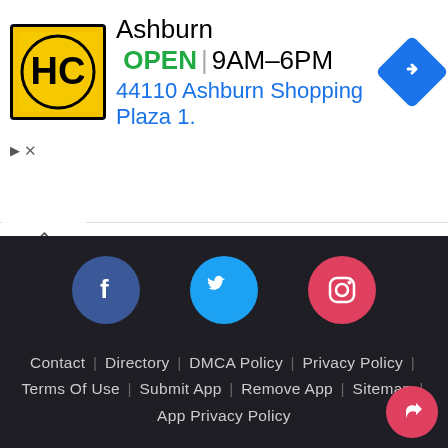[Figure (infographic): Ad banner showing HC logo, Ashburn location OPEN 9AM-6PM, address 44110 Ashburn Shopping Plaza 1., navigation arrow]
[Figure (infographic): Website footer with social media icons (Facebook, Twitter, Instagram), navigation links, copyright notice, and DMCA Protected badge]